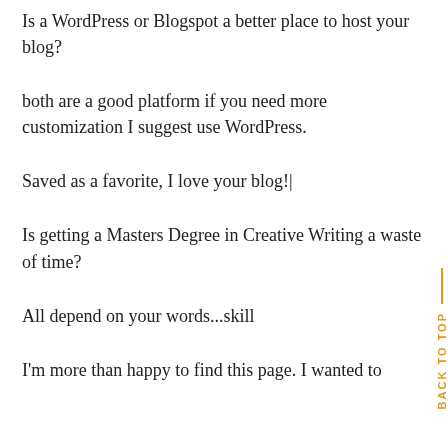Is a WordPress or Blogspot a better place to host your blog?
both are a good platform if you need more customization I suggest use WordPress.
Saved as a favorite, I love your blog!|
Is getting a Masters Degree in Creative Writing a waste of time?
All depend on your words...skill
I'm more than happy to find this page. I wanted to